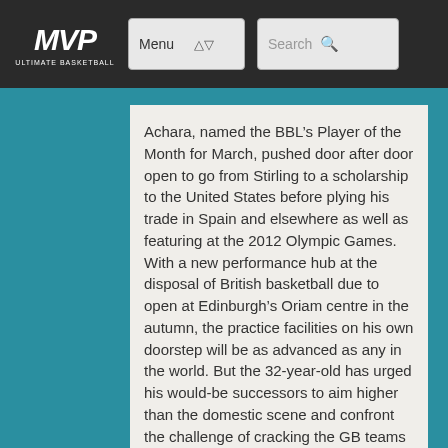MVP Ultimate Basketball | Menu | Search
Achara, named the BBL’s Player of the Month for March, pushed door after door open to go from Stirling to a scholarship to the United States before plying his trade in Spain and elsewhere as well as featuring at the 2012 Olympic Games.
With a new performance hub at the disposal of British basketball due to open at Edinburgh’s Oriam centre in the autumn, the practice facilities on his own doorstep will be as advanced as any in the world. But the 32-year-old has urged his would-be successors to aim higher than the domestic scene and confront the challenge of cracking the GB teams head on.